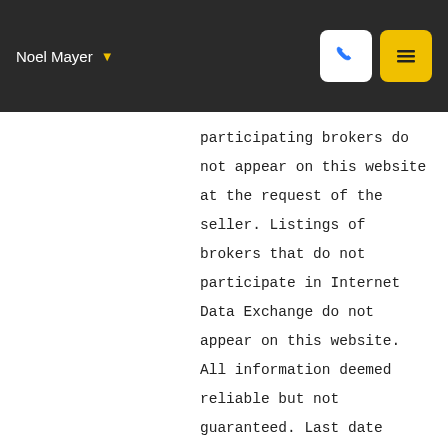Noel Mayer
participating brokers do not appear on this website at the request of the seller. Listings of brokers that do not participate in Internet Data Exchange do not appear on this website. All information deemed reliable but not guaranteed. Last date updated: September 2, 2022 7:46 AM UTC Source: New Jersey Multiple Listing Service, Inc. "© 2022 New Jersey Multiple Listing Service, Inc. All rights reserved."